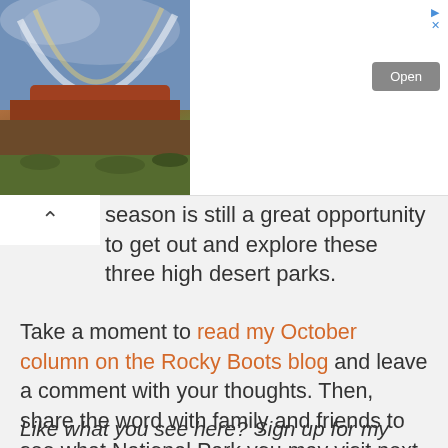[Figure (photo): Advertisement banner with a photo of a red rock landscape with rainbow and stormy sky on the left, text 'Keep Utah Wild' and an 'Open' button on the right]
season is still a great opportunity to get out and explore these three high desert parks.
Take a moment to read my October column on the Rocky Boots blog and leave a comment with your thoughts. Then, share the word with family and friends to see what National Park you may visit next.
Like what you see here? Sign up for my newsletter